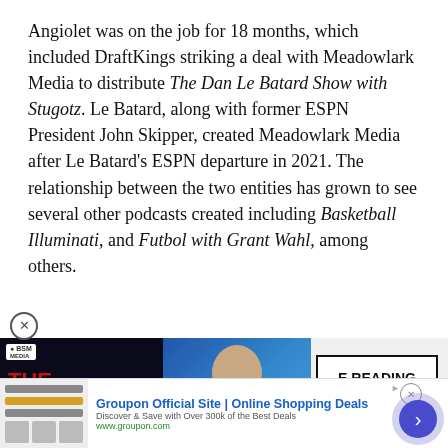Angiolet was on the job for 18 months, which included DraftKings striking a deal with Meadowlark Media to distribute The Dan Le Batard Show with Stugotz. Le Batard, along with former ESPN President John Skipper, created Meadowlark Media after Le Batard's ESPN departure in 2021. The relationship between the two entities has grown to see several other podcasts created including Basketball Illuminati, and Futbol with Grant Wahl, among others.
[Figure (screenshot): Podcast advertisement for The Jason Barrett Podcast featuring Paul Finebaum with a 'Continue Reading' button overlay]
[Figure (screenshot): Groupon advertisement showing 'Groupon Official Site | Online Shopping Deals - Discover & Save with Over 300k of the Best Deals - www.groupon.com']